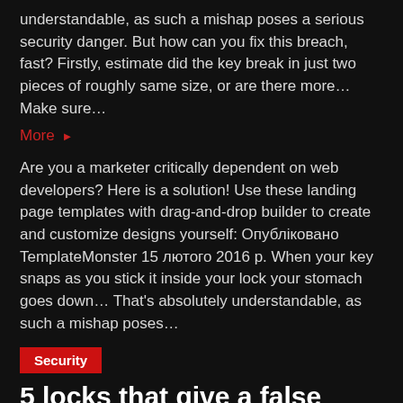understandable, as such a mishap poses a serious security danger. But how can you fix this breach, fast? Firstly, estimate did the key break in just two pieces of roughly same size, or are there more… Make sure…
More ▶
Are you a marketer critically dependent on web developers? Here is a solution! Use these landing page templates with drag-and-drop builder to create and customize designs yourself: Опубліковано TemplateMonster 15 лютого 2016 р. When your key snaps as you stick it inside your lock your stomach goes down… That's absolutely understandable, as such a mishap poses…
Security
5 locks that give a false sense of security
by alpine • April 16, 2016 • 0 comments